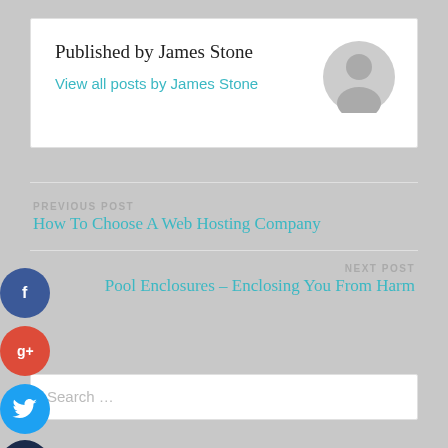Published by James Stone
View all posts by James Stone
[Figure (illustration): Gray circular avatar/profile placeholder icon]
PREVIOUS POST
How To Choose A Web Hosting Company
NEXT POST
Pool Enclosures – Enclosing You From Harm
Search …